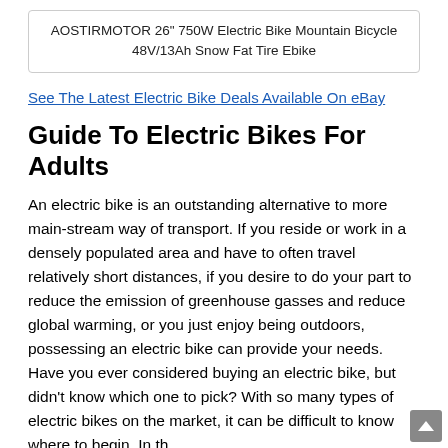AOSTIRMOTOR 26" 750W Electric Bike Mountain Bicycle 48V/13Ah Snow Fat Tire Ebike
See The Latest Electric Bike Deals Available On eBay
Guide To Electric Bikes For Adults
An electric bike is an outstanding alternative to more main-stream way of transport. If you reside or work in a densely populated area and have to often travel relatively short distances, if you desire to do your part to reduce the emission of greenhouse gasses and reduce global warming, or you just enjoy being outdoors, possessing an electric bike can provide your needs. Have you ever considered buying an electric bike, but didn't know which one to pick? With so many types of electric bikes on the market, it can be difficult to know where to begin. In th